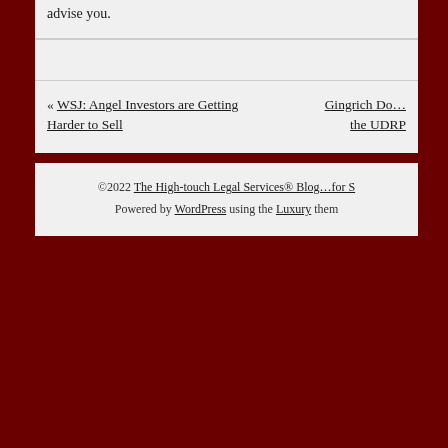advise you.
« WSJ: Angel Investors are Getting Harder to Sell
Gingrich Do… the UDRP
©2022 The High-touch Legal Services® Blog…for S… Powered by WordPress using the Luxury them…